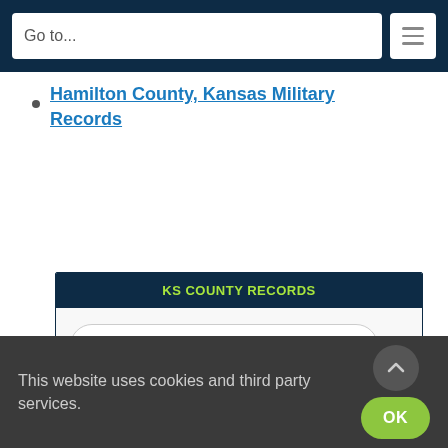Go to...
Hamilton County, Kansas Military Records
KS COUNTY RECORDS
Kansas County Listings ▼
SEARCH KS RESOURCES
KS Birth, Marriage & Death Records
KS Military Databases
KS Record Collections
This website uses cookies and third party services.